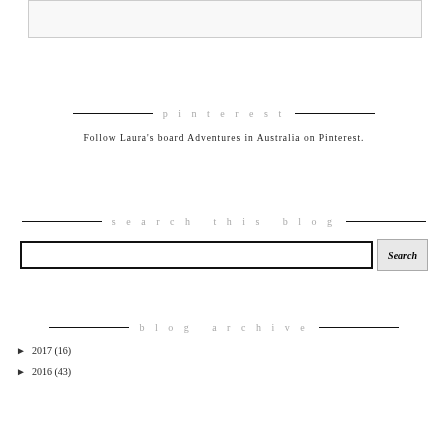[Figure (other): Top partial image box outline]
pinterest
Follow Laura's board Adventures in Australia on Pinterest.
search this blog
Search input and button
blog archive
► 2017 (16)
► 2016 (43)